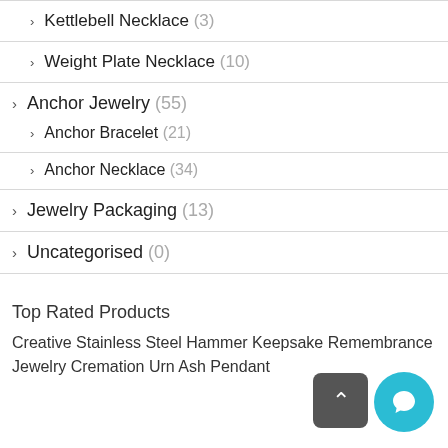Kettlebell Necklace (3)
Weight Plate Necklace (10)
Anchor Jewelry (55)
Anchor Bracelet (21)
Anchor Necklace (34)
Jewelry Packaging (13)
Uncategorised (0)
Top Rated Products
Creative Stainless Steel Hammer Keepsake Remembrance Jewelry Cremation Urn Ash Pendant